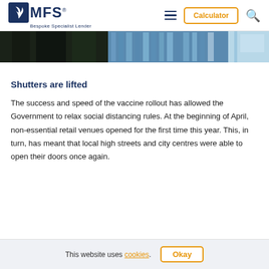MFS - Bespoke Specialist Lender | Calculator
[Figure (photo): Partial view of city buildings with glass facades, dark and blue tones, cropped hero image strip]
Shutters are lifted
The success and speed of the vaccine rollout has allowed the Government to relax social distancing rules. At the beginning of April, non-essential retail venues opened for the first time this year. This, in turn, has meant that local high streets and city centres were able to open their doors once again.
This website uses cookies. Okay